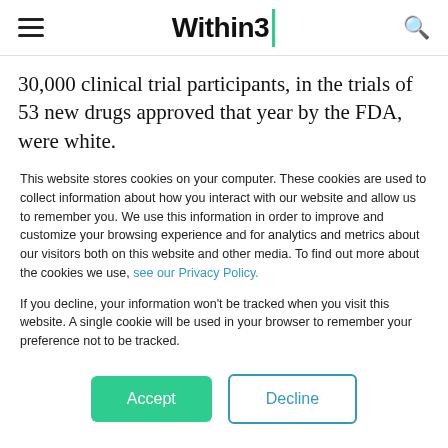Within3
30,000 clinical trial participants, in the trials of 53 new drugs approved that year by the FDA, were white.
This website stores cookies on your computer. These cookies are used to collect information about how you interact with our website and allow us to remember you. We use this information in order to improve and customize your browsing experience and for analytics and metrics about our visitors both on this website and other media. To find out more about the cookies we use, see our Privacy Policy.
If you decline, your information won't be tracked when you visit this website. A single cookie will be used in your browser to remember your preference not to be tracked.